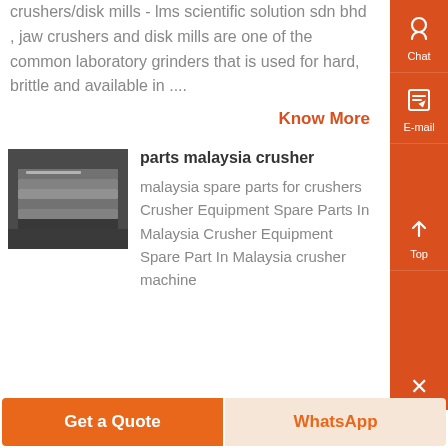crushers/disk mills - lms scientific solution sdn bhd , jaw crushers and disk mills are one of the common laboratory grinders that is used for hard, brittle and available in ....
Know More
[Figure (photo): Photo of industrial crusher/mill steel plates or parts stacked together]
parts malaysia crusher
malaysia spare parts for crushers Crusher Equipment Spare Parts In Malaysia Crusher Equipment Spare Part In Malaysia crusher machine
Get a Quote
WhatsApp